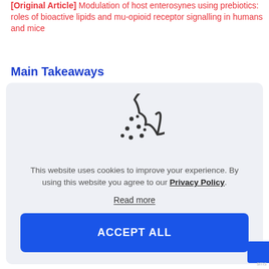[Original Article] Modulation of host enterosynes using prebiotics: roles of bioactive lipids and mu-opioid receptor signalling in humans and mice
Main Takeaways
[Figure (illustration): Cookie icon (a round cookie with a bite taken out and several dot-shaped chips)]
This website uses cookies to improve your experience. By using this website you agree to our Privacy Policy.
Read more
ACCEPT ALL